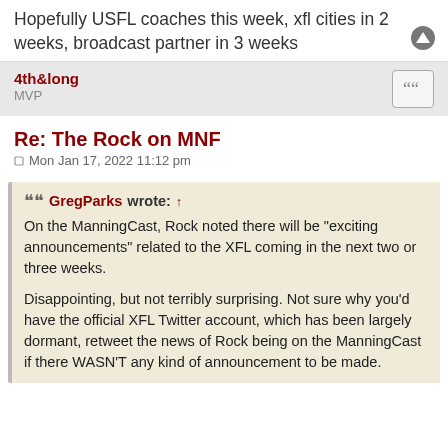Hopefully USFL coaches this week, xfl cities in 2 weeks, broadcast partner in 3 weeks
4th&long
MVP
Re: The Rock on MNF
Mon Jan 17, 2022 11:12 pm
GregParks wrote: ↑
On the ManningCast, Rock noted there will be "exciting announcements" related to the XFL coming in the next two or three weeks.

Disappointing, but not terribly surprising. Not sure why you'd have the official XFL Twitter account, which has been largely dormant, retweet the news of Rock being on the ManningCast if there WASN'T any kind of announcement to be made.